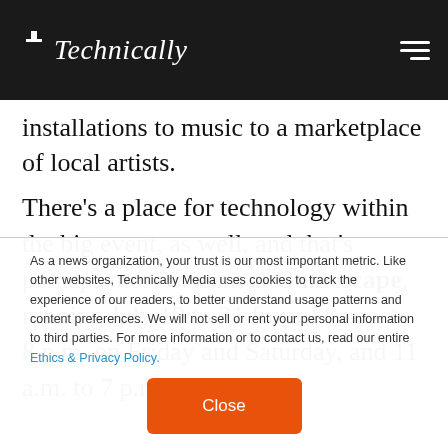Technically
installations to music to a marketplace of local artists.
There's a place for technology within the big event, as well, and that's perhaps most evident at Gamescape, running July 19 to 21 from 11 a.m. to 8 p.m. on Friday and Saturday, and 11 a.m. to 7 p.m.
As a news organization, your trust is our most important metric. Like other websites, Technically Media uses cookies to track the experience of our readers, to better understand usage patterns and content preferences. We will not sell or rent your personal information to third parties. For more information or to contact us, read our entire Ethics & Privacy Policy.
Close